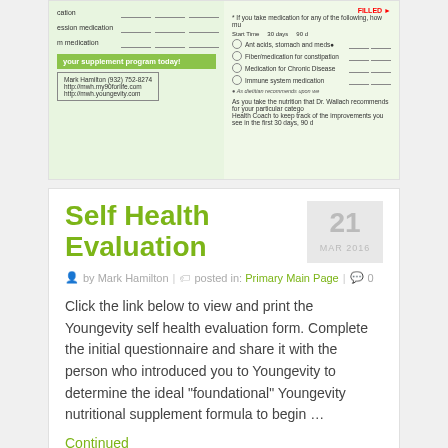[Figure (screenshot): Screenshot of a Youngevity self health evaluation form showing medication fields, supplement program info with Mark Hamilton contact details, and a right panel with medication checkboxes for various conditions]
Self Health Evaluation
21 MAR 2016
by Mark Hamilton | posted in: Primary Main Page | 0
Click the link below to view and print the Youngevity self health evaluation form. Complete the initial questionnaire and share it with the person who introduced you to Youngevity to determine the ideal “foundational” Youngevity nutritional supplement formula to begin …
Continued
[Figure (photo): Fucoidan banner image with large white text on teal/ocean blue background]